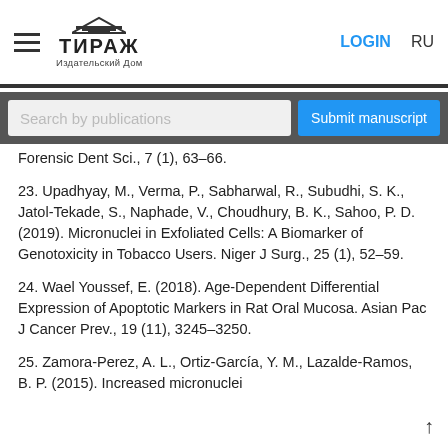ТИРАЖ Издательский Дом | LOGIN | RU
Search by publications
Forensic Dent Sci., 7 (1), 63–66.
23. Upadhyay, M., Verma, P., Sabharwal, R., Subudhi, S. K., Jatol-Tekade, S., Naphade, V., Choudhury, B. K., Sahoo, P. D. (2019). Micronuclei in Exfoliated Cells: A Biomarker of Genotoxicity in Tobacco Users. Niger J Surg., 25 (1), 52–59.
24. Wael Youssef, E. (2018). Age-Dependent Differential Expression of Apoptotic Markers in Rat Oral Mucosa. Asian Pac J Cancer Prev., 19 (11), 3245–3250.
25. Zamora-Perez, A. L., Ortiz-García, Y. M., Lazalde-Ramos, B. P. (2015). Increased micronuclei